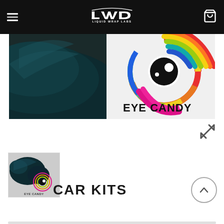[Figure (logo): Liquid Wrap Labs logo with stylized LWL letters and text 'LIQUID WRAP LABS' on black header bar]
[Figure (photo): Hero banner showing a dark teal metallic car surface on the left and a colorful swirling eye graphic with 'EYE CANDY' text on the right]
[Figure (photo): Thumbnail image of Eye Candy product showing dark metallic car paint swirls with Eye Candy logo]
CAR KITS